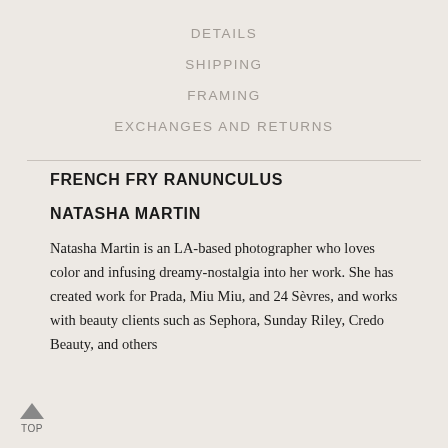DETAILS
SHIPPING
FRAMING
EXCHANGES AND RETURNS
FRENCH FRY RANUNCULUS
NATASHA MARTIN
Natasha Martin is an LA-based photographer who loves color and infusing dreamy-nostalgia into her work. She has created work for Prada, Miu Miu, and 24 Sèvres, and works with beauty clients such as Sephora, Sunday Riley, Credo Beauty, and others